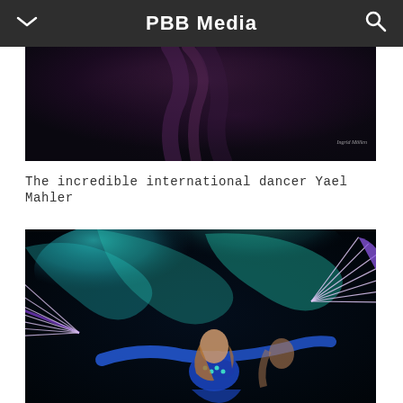PBB Media
[Figure (photo): A dark performance photo showing a dancer in flowing dark costume against a black background, with a small watermark text 'Ingrid Mollor' in the bottom right corner.]
The incredible international dancer Yael Mahler
[Figure (photo): A vibrant performance photo of dancer Yael Mahler in a blue lace costume, holding large purple hand fans with teal and blue fabric fans swirling in the background, against a black background.]